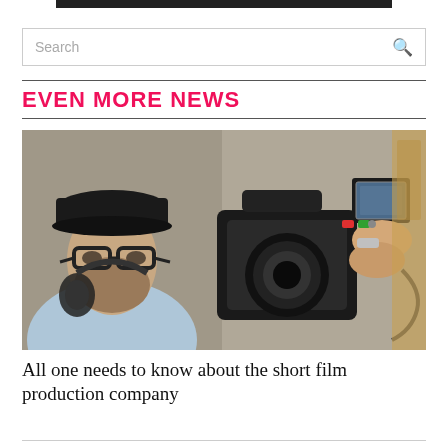[Figure (other): Dark navigation/header bar at top of webpage]
Search
EVEN MORE NEWS
[Figure (photo): A man with glasses, a black baseball cap, and headphones around his neck leans against a wall beside a professional film camera being operated by someone else]
All one needs to know about the short film production company